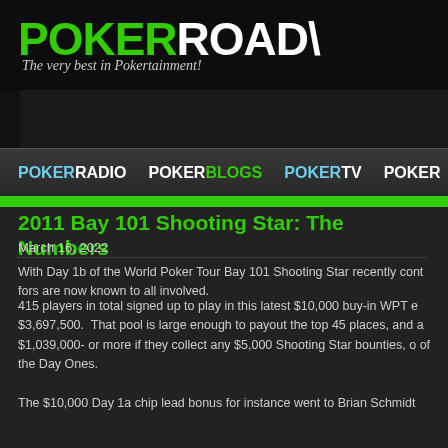POKERROAD - The very best in Pokertainment!
2011 Bay 101 Shooting Star: The Numbers
March 16, 2022
With Day 1b of the World Poker Tour Bay 101 Shooting Star recently cont... fors are now known to all involved.
415 players in total signed up to play in this latest $10,000 buy-in WPT e... $3,697,500.  That pool is large enough to payout the top 45 places, and a... $1,039,000- or more if they collect any $5,000 Shooting Star bounties, o... of the Day Ones.
The $10,000 Day 1a chip lead bonus for instance went to Brian Schmidt...